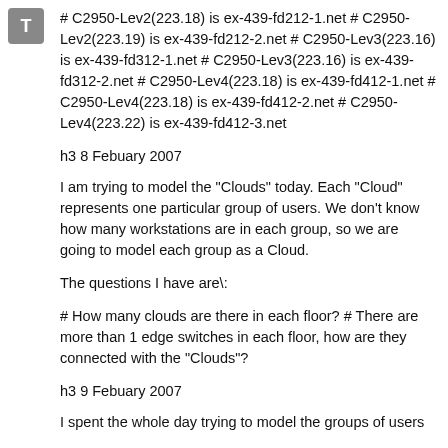[Figure (other): Gray square icon with white letter T]
# C2950-Lev2(223.18) is ex-439-fd212-1.net # C2950-Lev2(223.19) is ex-439-fd212-2.net # C2950-Lev3(223.16) is ex-439-fd312-1.net # C2950-Lev3(223.16) is ex-439-fd312-2.net # C2950-Lev4(223.18) is ex-439-fd412-1.net # C2950-Lev4(223.18) is ex-439-fd412-2.net # C2950-Lev4(223.22) is ex-439-fd412-3.net
h3 8 Febuary 2007
I am trying to model the "Clouds" today. Each "Cloud" represents one particular group of users. We don't know how many workstations are in each group, so we are going to model each group as a Cloud.
The questions I have are\:
# How many clouds are there in each floor? # There are more than 1 edge switches in each floor, how are they connected with the "Clouds"?
h3 9 Febuary 2007
I spent the whole day trying to model the groups of users